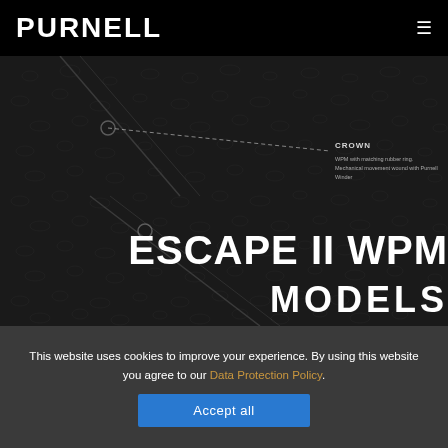PURNELL
[Figure (photo): Dark leather texture background with watch strap details. Dashed line pointing to CROWN label. Text reads: CROWN - WPM with matching rubber ring. Mechanical movement wound with Purnell Winder.]
ESCAPE II WPM
MODELS
This website uses cookies to improve your experience. By using this website you agree to our Data Protection Policy.
Accept all